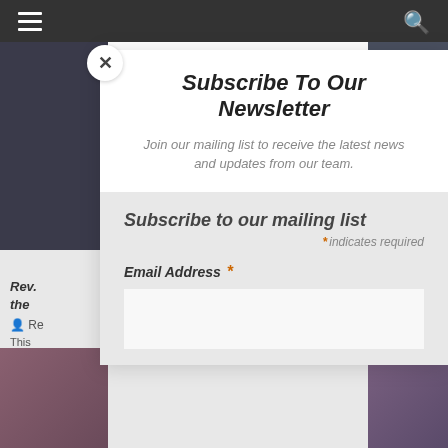Navigation bar with menu and search icons
Subscribe To Our Newsletter
Join our mailing list to receive the latest news and updates from our team.
Subscribe to our mailing list
* indicates required
Email Address *